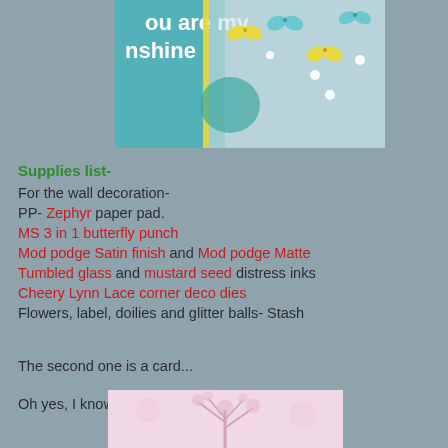[Figure (photo): Close-up photo of a crafted wall decoration showing butterfly punches in yellow and teal colors, with text 'you are my sunshine' visible, on a light blue/teal background with pearl embellishments.]
Supplies list-
For the wall decoration-
PP- Zephyr paper pad.
MS 3 in 1 butterfly punch
Mod podge Satin finish and Mod podge Matte
Tumbled glass and mustard seed distress inks
Cheery Lynn Lace corner deco dies
Flowers, label, doilies and glitter balls- Stash
The second one is a card...
Oh yes, I know it is pretty! :-p
[Figure (photo): Partial photo of a pink card with floral/tree stamped design visible at the bottom of the page.]